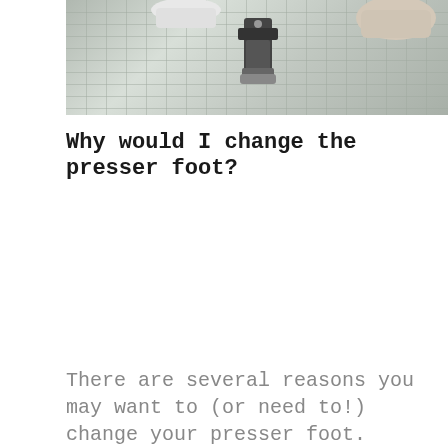[Figure (photo): Top-down view of a sewing machine presser foot on a green cutting mat with grid lines]
Why would I change the presser foot?
[Figure (infographic): Social share buttons: Pinterest (red), Facebook (dark blue), Twitter (light blue)]
There are several reasons you may want to (or need to!) change your presser foot.